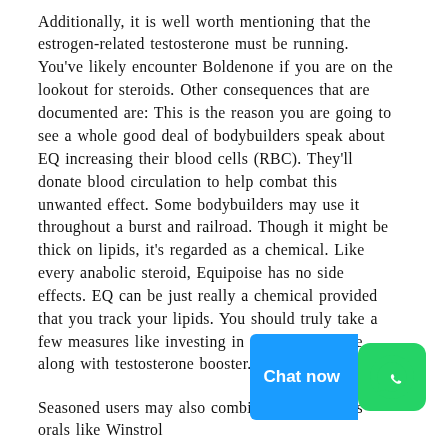Additionally, it is well worth mentioning that the estrogen-related testosterone must be running. You've likely encounter Boldenone if you are on the lookout for steroids. Other consequences that are documented are: This is the reason you are going to see a whole good deal of bodybuilders speak about EQ increasing their blood cells (RBC). They'll donate blood circulation to help combat this unwanted effect. Some bodybuilders may use it throughout a burst and railroad. Though it might be thick on lipids, it's regarded as a chemical. Like every anabolic steroid, Equipoise has no side effects. EQ can be just really a chemical provided that you track your lipids. You should truly take a few measures like investing in a bicycle service along with testosterone booster.
Seasoned users may also combine using various orals like Winstrol